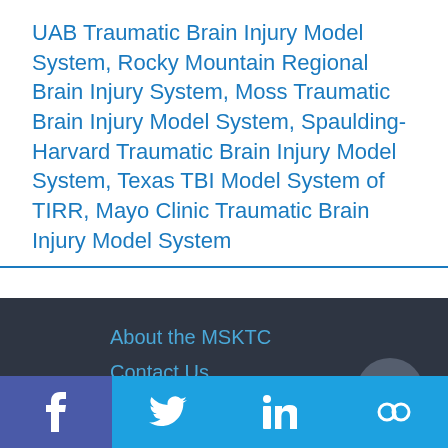UAB Traumatic Brain Injury Model System, Rocky Mountain Regional Brain Injury System, Moss Traumatic Brain Injury Model System, Spaulding-Harvard Traumatic Brain Injury Model System, Texas TBI Model System of TIRR, Mayo Clinic Traumatic Brain Injury Model System
About the MSKTC
Contact Us
FAQ